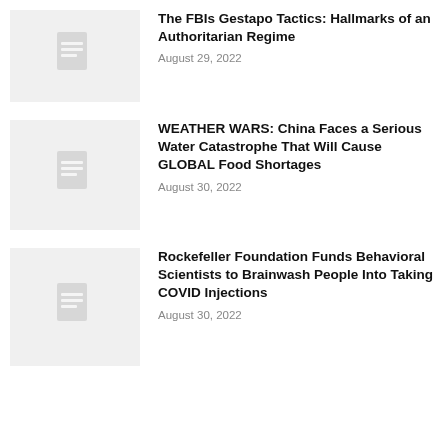[Figure (other): Thumbnail placeholder image with document icon]
The FBIs Gestapo Tactics: Hallmarks of an Authoritarian Regime
August 29, 2022
[Figure (other): Thumbnail placeholder image with document icon]
WEATHER WARS: China Faces a Serious Water Catastrophe That Will Cause GLOBAL Food Shortages
August 30, 2022
[Figure (other): Thumbnail placeholder image with document icon]
Rockefeller Foundation Funds Behavioral Scientists to Brainwash People Into Taking COVID Injections
August 30, 2022